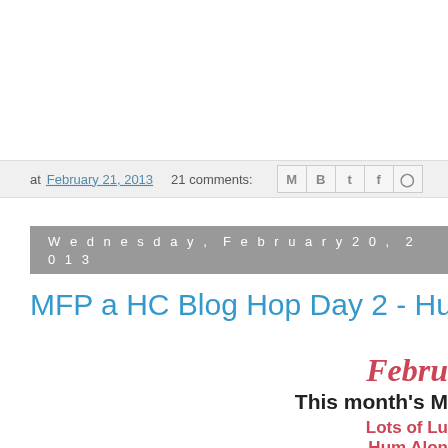at February 21, 2013   21 comments:
Wednesday, February 20, 2013
MFP a HC Blog Hop Day 2 - Hum Along
Febru
This month's M
Lots of Lu
Hum Alon
Rain Clou
All Pos